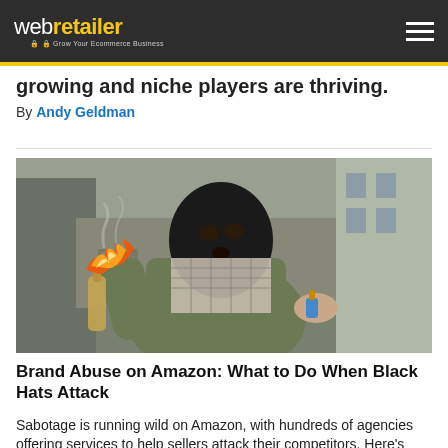webretailer - Grow Your Ecommerce Business
growing and niche players are thriving.
By Andy Geldman
[Figure (photo): A person wearing a black ski mask and a checkered scarf, holding a flaming bottle (Molotov cocktail) in an urban/industrial setting. The image is used to illustrate an article about black-hat attacks on Amazon.]
Brand Abuse on Amazon: What to Do When Black Hats Attack
Sabotage is running wild on Amazon, with hundreds of agencies offering services to help sellers attack their competitors. Here's how to fight